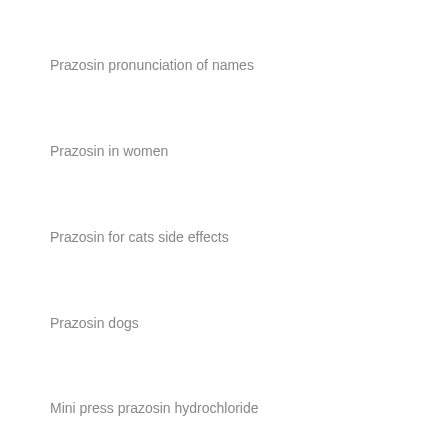Prazosin pronunciation of names
Prazosin in women
Prazosin for cats side effects
Prazosin dogs
Mini press prazosin hydrochloride
Cheap prazosin medication
Prazosin saleen
Maximum dose prazosin
Prazosin pharmacology definition
Prazosin oxaprost precio en chihuahua, oxaprost precio en chihuahua, oxaprost precio en chihuahua, oxaprost precio en chihuahua, oxaprost precio en chihuahua, oxaprost precio en chihuahua, oxaprost